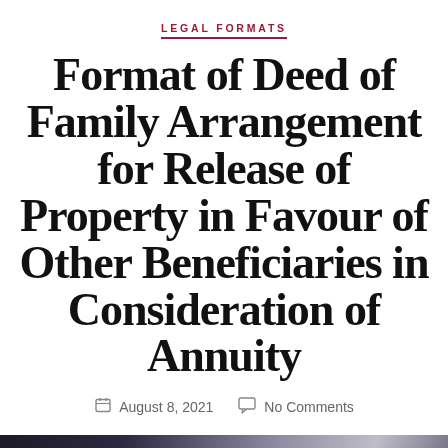LEGAL FORMATS
Format of Deed of Family Arrangement for Release of Property in Favour of Other Beneficiaries in Consideration of Annuity
August 8, 2021   No Comments
[Figure (photo): Black and white photograph of hands signing or handling a legal document on a desk, with a pen visible]